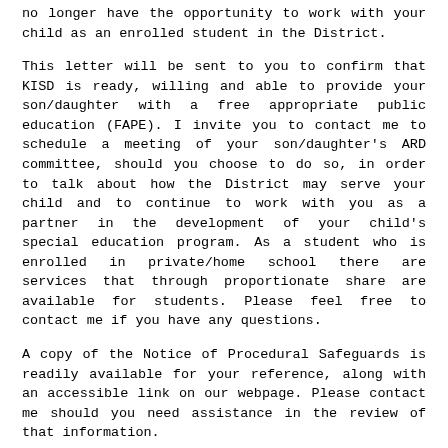no longer have the opportunity to work with your child as an enrolled student in the District.
This letter will be sent to you to confirm that KISD is ready, willing and able to provide your son/daughter with a free appropriate public education (FAPE). I invite you to contact me to schedule a meeting of your son/daughter's ARD committee, should you choose to do so, in order to talk about how the District may serve your child and to continue to work with you as a partner in the development of your child's special education program. As a student who is enrolled in private/home school there are services that through proportionate share are available for students. Please feel free to contact me if you have any questions.
A copy of the Notice of Procedural Safeguards is readily available for your reference, along with an accessible link on our webpage. Please contact me should you need assistance in the review of that information.
Sincerely,
Mandy Stevenson, Director